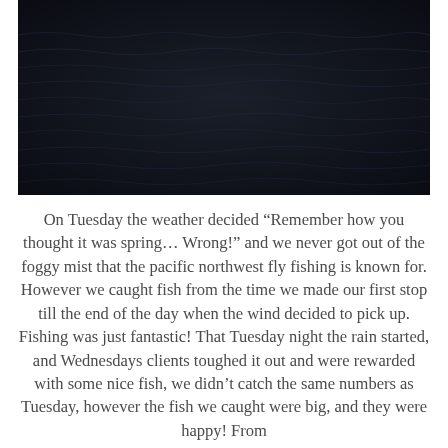[Figure (photo): Dark, moody photograph of ocean water surface with subtle wave ripples, very dark navy/black tones suggesting overcast or nighttime conditions.]
On Tuesday the weather decided “Remember how you thought it was spring… Wrong!” and we never got out of the foggy mist that the pacific northwest fly fishing is known for. However we caught fish from the time we made our first stop till the end of the day when the wind decided to pick up. Fishing was just fantastic! That Tuesday night the rain started, and Wednesdays clients toughed it out and were rewarded with some nice fish, we didn’t catch the same numbers as Tuesday, however the fish we caught were big, and they were happy! From